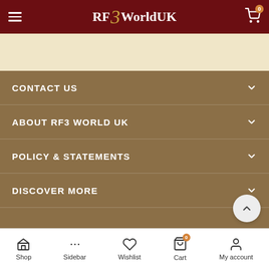RF3WorldUK
CONTACT US
ABOUT RF3 WORLD UK
POLICY & STATEMENTS
DISCOVER MORE
Shop | Sidebar | Wishlist | Cart 0 | My account